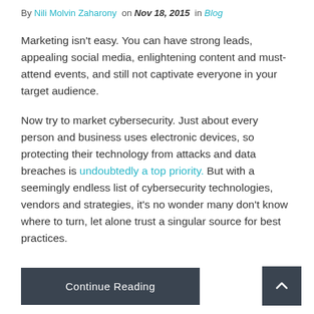By Nili Molvin Zaharony on Nov 18, 2015 in Blog
Marketing isn't easy. You can have strong leads, appealing social media, enlightening content and must-attend events, and still not captivate everyone in your target audience.
Now try to market cybersecurity. Just about every person and business uses electronic devices, so protecting their technology from attacks and data breaches is undoubtedly a top priority. But with a seemingly endless list of cybersecurity technologies, vendors and strategies, it's no wonder many don't know where to turn, let alone trust a singular source for best practices.
Continue Reading